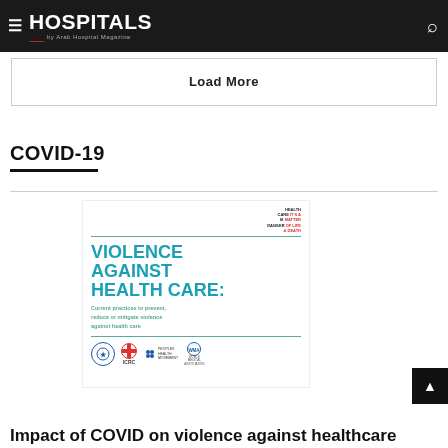HOSPITALS by Arab Hospital Magazine
Load More
COVID-19
[Figure (illustration): Book cover for 'Violence Against Health Care: Current practices to prevent, reduce or mitigate violence against health care' with logos of ICRC, PHM, WMA and another organization at the bottom. A badge reads 'Health Care It's a Matter of Life & Death'. Green horizontal lines frame the content.]
Impact of COVID on violence against healthcare